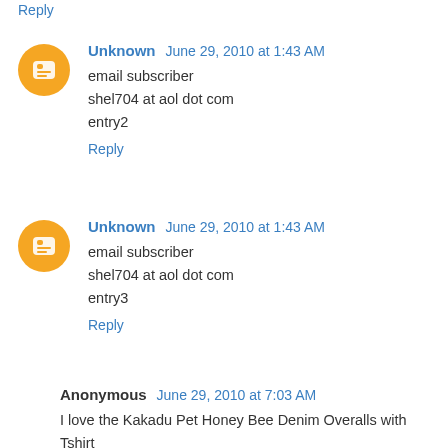Reply
Unknown June 29, 2010 at 1:43 AM
email subscriber
shel704 at aol dot com
entry2
Reply
Unknown June 29, 2010 at 1:43 AM
email subscriber
shel704 at aol dot com
entry3
Reply
Anonymous June 29, 2010 at 7:03 AM
I love the Kakadu Pet Honey Bee Denim Overalls with Tshirt